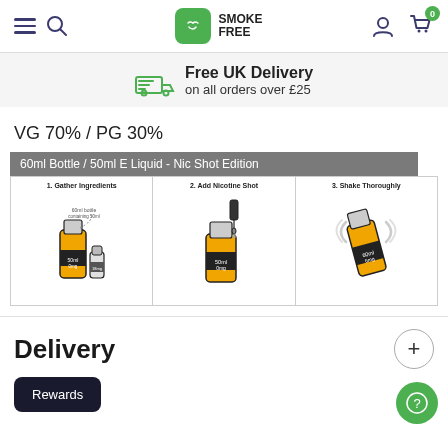Smoke Free - navigation header with hamburger menu, search, logo, user icon, cart (0)
Free UK Delivery on all orders over £25
VG 70% / PG 30%
[Figure (infographic): 60ml Bottle / 50ml E Liquid - Nic Shot Edition instructions showing 3 steps: 1. Gather Ingredients, 2. Add Nicotine Shot, 3. Shake Thoroughly]
Delivery
Rewards